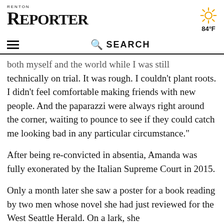RENTON REPORTER
84°F
SEARCH
both myself and the world while I was still technically on trial. It was rough. I couldn't plant roots. I didn't feel comfortable making friends with new people. And the paparazzi were always right around the corner, waiting to pounce to see if they could catch me looking bad in any particular circumstance."
After being re-convicted in absentia, Amanda was fully exonerated by the Italian Supreme Court in 2015.
Only a month later she saw a poster for a book reading by two men whose novel she had just reviewed for the West Seattle Herald. On a lark, she